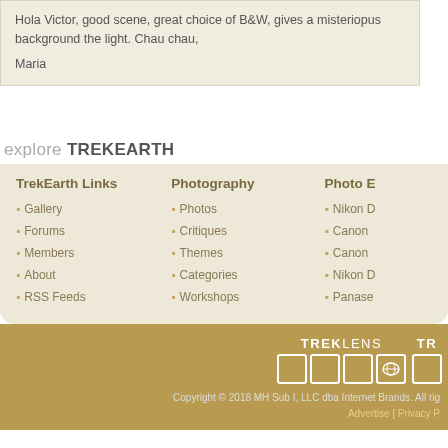Hola Victor, good scene, great choice of B&W, gives a misteriopus background the light. Chau chau,

Maria
explore TREKEARTH
TrekEarth Links
Gallery
Forums
Members
About
RSS Feeds
Photography
Photos
Critiques
Themes
Categories
Workshops
Photo E
Nikon D
Canon
Canon
Nikon D
Panase
[Figure (logo): TREKLENS logo with icon boxes and partial TRE logo]
Copyright © 2018 MH Sub I, LLC dba Internet Brands. All rig Advertise | Privacy P